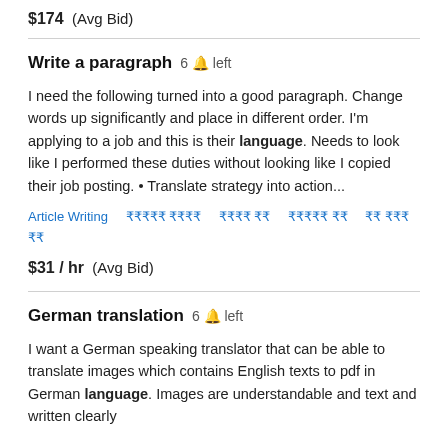$174  (Avg Bid)
Write a paragraph  6 🔔 left
I need the following turned into a good paragraph. Change words up significantly and place in different order. I'm applying to a job and this is their language. Needs to look like I performed these duties without looking like I copied their job posting. • Translate strategy into action...
Article Writing  [tags]  $31 / hr  (Avg Bid)
German translation  6 🔔 left
I want a German speaking translator that can be able to translate images which contains English texts to pdf in German language. Images are understandable and text and written clearly